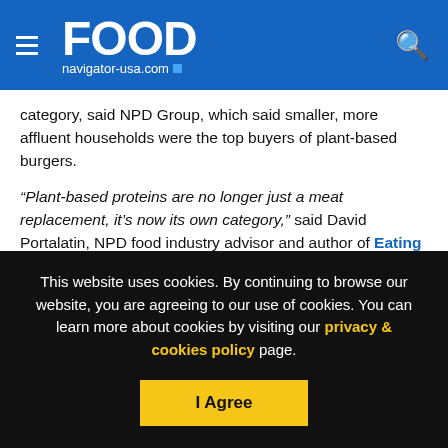FOOD navigator-usa.com
category, said NPD Group, which said smaller, more affluent households were the top buyers of plant-based burgers.
“Plant-based proteins are no longer just a meat replacement, it’s now its own category,” said David Portalatin, NPD food industry advisor and author of Eating Patterns in America.
“It’s possible that protein overall is evolving into a category, whether animal meat, beans, nuts, soy, wild game or other proteins, in forms ranging from beverage to center-of-plate.”
This website uses cookies. By continuing to browse our website, you are agreeing to our use of cookies. You can learn more about cookies by visiting our privacy & cookies policy page.